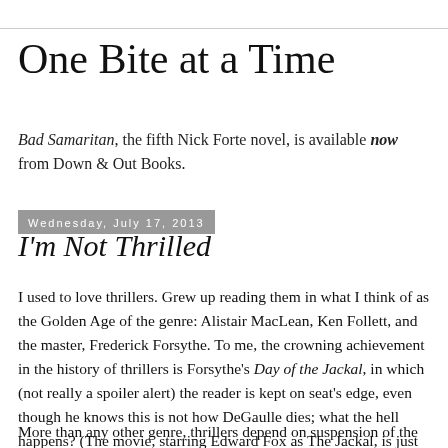One Bite at a Time
Bad Samaritan, the fifth Nick Forte novel, is available now from Down & Out Books.
Wednesday, July 17, 2013
I'm Not Thrilled
I used to love thrillers. Grew up reading them in what I think of as the Golden Age of the genre: Alistair MacLean, Ken Follett, and the master, Frederick Forsythe. To me, the crowning achievement in the history of thrillers is Forsythe's Day of the Jackal, in which (not really a spoiler alert) the reader is kept on seat's edge, even though he knows this is not how DeGaulle dies; what the hell happens? (The movie, starring Edward Fox as The Jackal, is just as riveting.)
More than any other genre, thrillers depend on suspension of the reader's disbelief. Some would say it's science fiction that carries